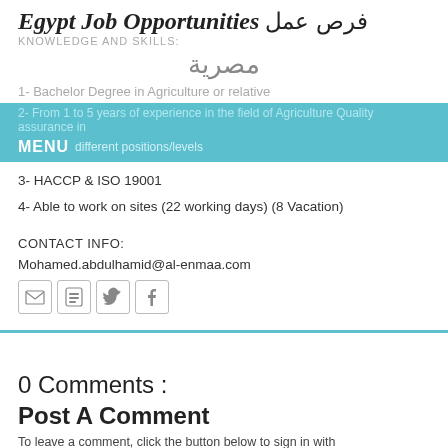Egypt Job Opportunities فرص عمل مصرية
KNOWLEDGE AND SKILLS:
1- Bachelor Degree in Agriculture or relative
2- From 1 to 5 years of experience in the field of Agriculture Quality assurance in different positions/levels
MENU
3- HACCP & ISO 19001
4- Able to work on sites (22 working days) (8 Vacation)
CONTACT INFO:
Mohamed.abdulhamid@al-enmaa.com
[Figure (infographic): Social media sharing icons: Gmail, Blogger, Twitter, Facebook]
0 Comments :
Post A Comment
To leave a comment, click the button below to sign in with